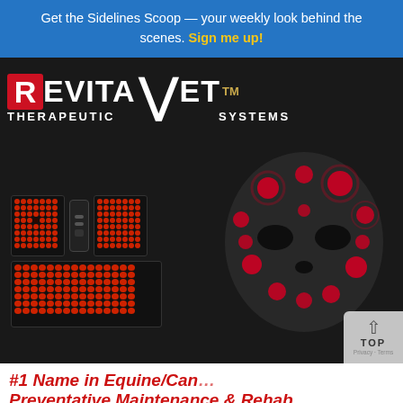Get the Sidelines Scoop — your weekly look behind the scenes. Sign me up!
[Figure (photo): RevitaVet Therapeutic Systems product advertisement image showing LED therapy panels and a mask-shaped LED device on a dark background]
#1 Name in Equine/Can... Preventative Maintenance & Rehab